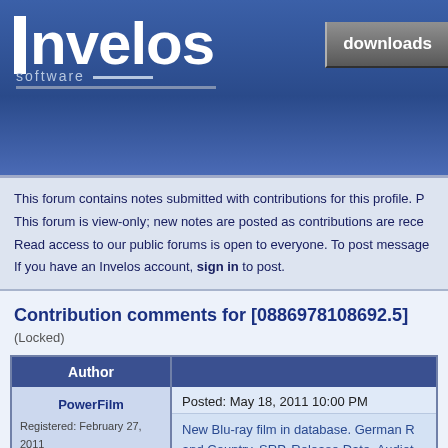[Figure (logo): Invelos Software logo with white text on blue gradient background, with 'downloads' button top right]
This forum contains notes submitted with contributions for this profile. P
This forum is view-only; new notes are posted as contributions are rece
Read access to our public forums is open to everyone. To post message
If you have an Invelos account, sign in to post.
Contribution comments for [0886978108692.5] (Locked)
| Author |  |
| --- | --- |
| PowerFilm
Registered: February 27, 2011
Reputation:
Posts: 3 | Posted: May 18, 2011 10:00 PM
New Blu-ray film in database. German R... and Country, SRP, Release Date, Audiob... coverscans in some days, this is to open...
Evaluate this contribution |
| PowerFilm
Registered: February 27, 2011
Reputation:
Posts: 3 | Posted: May 18, 2011 10:05 PM
New Blu-ray film in database. German R... and Country, SRP, Release Date, Audiob... coverscans in some days, this is to open...
Evaluate this contribution |